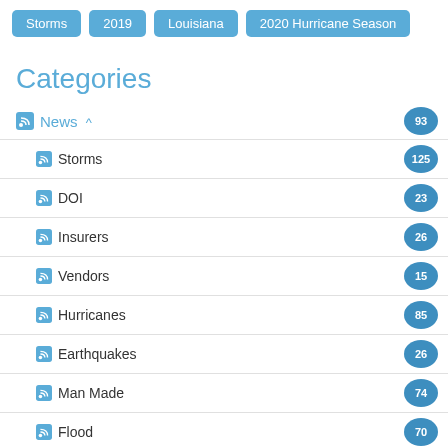Storms
2019
Louisiana
2020 Hurricane Season
Categories
News 93
Storms 125
DOI 23
Insurers 26
Vendors 15
Hurricanes 85
Earthquakes 26
Man Made 74
Flood 70
Catastrophes 8
Wind Pool 2
Insurance Law 7